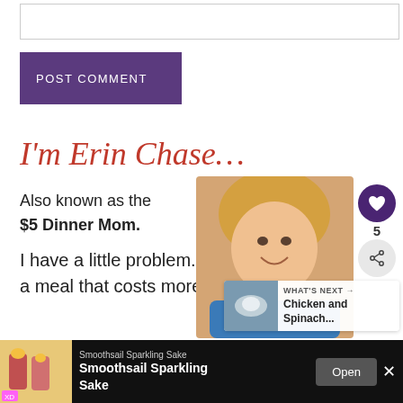[Figure (other): Text input box (comment field)]
POST COMMENT
I'm Erin Chase…
Also known as the $5 Dinner Mom.
I have a little problem. I cannot make a meal that costs more than $5.
It's a fun challenge,
[Figure (photo): Photo of Erin Chase, a smiling blonde woman wearing a blue top]
[Figure (infographic): Like button (heart icon) with count 5 and share icon]
[Figure (infographic): What's Next panel with thumbnail and text 'Chicken and Spinach...']
[Figure (infographic): Advertisement bar: Smoothsail Sparkling Sake with Open button]